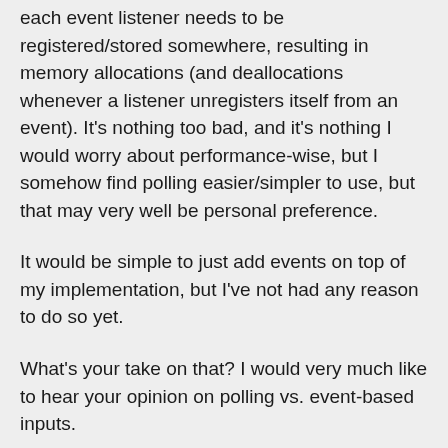each event listener needs to be registered/stored somewhere, resulting in memory allocations (and deallocations whenever a listener unregisters itself from an event). It's nothing too bad, and it's nothing I would worry about performance-wise, but I somehow find polling easier/simpler to use, but that may very well be personal preference.
It would be simple to just add events on top of my implementation, but I've not had any reason to do so yet.
What's your take on that? I would very much like to hear your opinion on polling vs. event-based inputs.